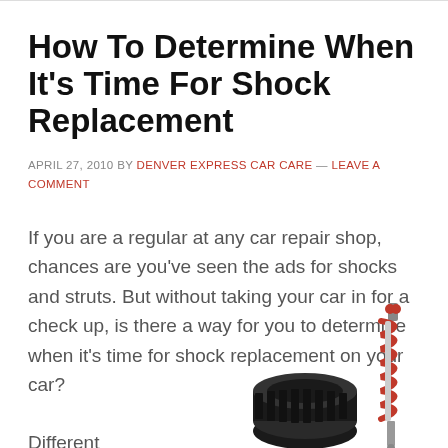How To Determine When It's Time For Shock Replacement
APRIL 27, 2010 BY DENVER EXPRESS CAR CARE — LEAVE A COMMENT
If you are a regular at any car repair shop, chances are you've seen the ads for shocks and struts. But without taking your car in for a check up, is there a way for you to determine when it's time for shock replacement on your car?
Different
[Figure (photo): Photo of a car tire and a red coil spring shock absorber component on white background]